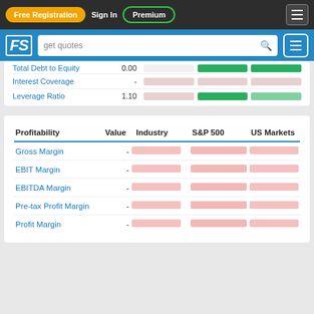Free Registration | Sign In | Premium
[Figure (screenshot): FS logo with search bar showing 'get quotes']
|  | Value | Industry | S&P 500 | US Markets |
| --- | --- | --- | --- | --- |
| Total Debt to Equity | 0.00 | - | - | - |
| Interest Coverage | - | - | - | - |
| Leverage Ratio | 1.10 | - | - | - |
| Profitability | Value | Industry | S&P 500 | US Markets |
| --- | --- | --- | --- | --- |
| Gross Margin | - | - | - | - |
| EBIT Margin | - | - | - | - |
| EBITDA Margin | - | - | - | - |
| Pre-tax Profit Margin | - | - | - | - |
| Profit Margin | - | - | - | - |